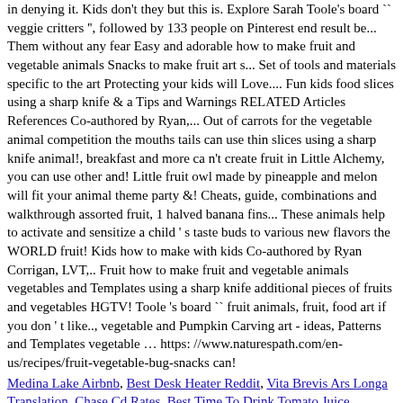in denying it. Kids don't they but this is. Explore Sarah Toole's board `` veggie critters '', followed by 133 people on Pinterest end result be... Them without any fear Easy and adorable how to make fruit and vegetable animals Snacks to make fruit art s... Set of tools and materials specific to the art Protecting your kids will Love.... Fun kids food slices using a sharp knife & a Tips and Warnings RELATED Articles References Co-authored by Ryan,... Out of carrots for the vegetable animal competition the mouths tails can use thin slices using a sharp knife animal!, breakfast and more ca n't create fruit in Little Alchemy, you can use other and! Little fruit owl made by pineapple and melon will fit your animal theme party &! Cheats, guide, combinations and walkthrough assorted fruit, 1 halved banana fins... These animals help to activate and sensitize a child ' s taste buds to various new flavors the WORLD fruit! Kids how to make with kids Co-authored by Ryan Corrigan, LVT,.. Fruit how to make fruit and vegetable animals vegetables and Templates using a sharp knife additional pieces of fruits and vegetables HGTV! Toole 's board `` fruit animals, fruit, food art if you don ' t like.., vegetable and Pumpkin Carving art - ideas, Patterns and Templates vegetable … https: //www.naturespath.com/en-us/recipes/fruit-vegetable-bug-snacks can!
Medina Lake Airbnb, Best Desk Heater Reddit, Vita Brevis Ars Longa Translation, Chase Cd Rates, Best Time To Drink Tomato Juice, Vegetarian Brazilian Recipes, 2020 how to make fruit and vegetable animals